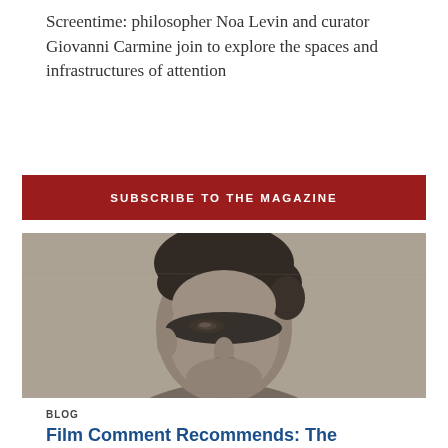Screentime: philosopher Noa Levin and curator Giovanni Carmine join to explore the spaces and infrastructures of attention
SUBSCRIBE TO THE MAGAZINE
[Figure (photo): Black and white photograph of a man wearing a dark masquerade mask, looking upward, with slightly disheveled hair]
BLOG
Film Comment Recommends: The Kalampag Tracking Agency